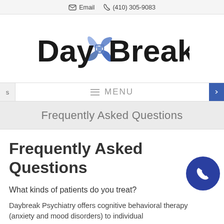Email  (410) 305-9083
[Figure (logo): DayBreak logo with blue pinwheel/flower icon between the words Day and Break]
≡ MENU
Frequently Asked Questions
Frequently Asked Questions
What kinds of patients do you treat?
Daybreak Psychiatry offers cognitive behavioral therapy (anxiety and mood disorders) to individual